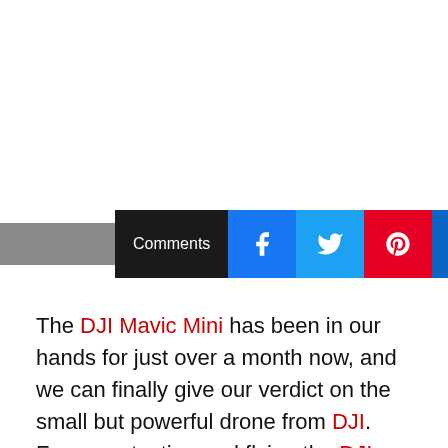[Figure (screenshot): Social sharing toolbar with Comments button and social media icons (Facebook, Twitter, Pinterest, LinkedIn, Reddit) plus a close X button]
The DJI Mavic Mini has been in our hands for just over a month now, and we can finally give our verdict on the small but powerful drone from DJI. From our testing and flying the DJI Mavic Mini we can already say the results are looking good with great flight time, a camera that is good enough and a range that is more than enough for the size.